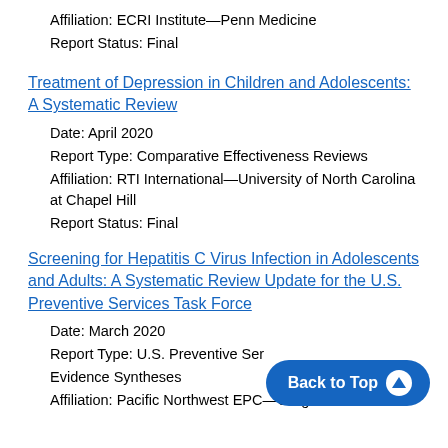Affiliation: ECRI Institute—Penn Medicine
Report Status: Final
Treatment of Depression in Children and Adolescents: A Systematic Review
Date: April 2020
Report Type: Comparative Effectiveness Reviews
Affiliation: RTI International—University of North Carolina at Chapel Hill
Report Status: Final
Screening for Hepatitis C Virus Infection in Adolescents and Adults: A Systematic Review Update for the U.S. Preventive Services Task Force
Date: March 2020
Report Type: U.S. Preventive Services Task Force Evidence Syntheses
Affiliation: Pacific Northwest EPC—Oregon Health &